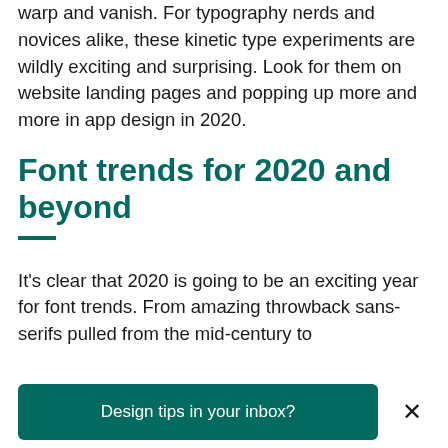warp and vanish. For typography nerds and novices alike, these kinetic type experiments are wildly exciting and surprising. Look for them on website landing pages and popping up more and more in app design in 2020.
Font trends for 2020 and beyond
It's clear that 2020 is going to be an exciting year for font trends. From amazing throwback sans-serifs pulled from the mid-century to
Design tips in your inbox?